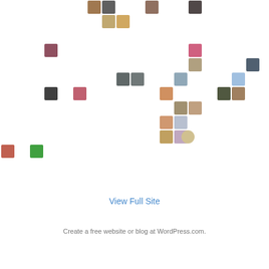[Figure (other): Grid of user avatar thumbnails, mostly grey placeholder silhouettes with some real profile photos mixed in, arranged in approximately 11 rows of 19-20 avatars each]
View Full Site
Create a free website or blog at WordPress.com.